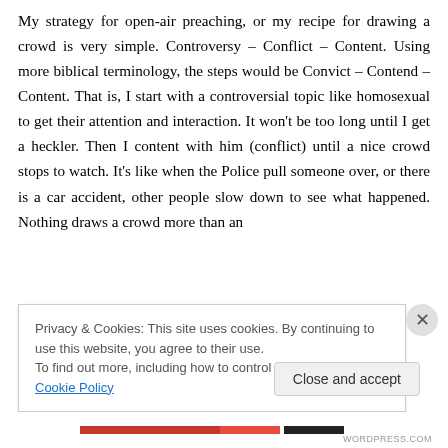My strategy for open-air preaching, or my recipe for drawing a crowd is very simple. Controversy – Conflict – Content. Using more biblical terminology, the steps would be Convict – Contend – Content. That is, I start with a controversial topic like homosexual to get their attention and interaction. It won't be too long until I get a heckler. Then I content with him (conflict) until a nice crowd stops to watch. It's like when the Police pull someone over, or there is a car accident, other people slow down to see what happened. Nothing draws a crowd more than an
Privacy & Cookies: This site uses cookies. By continuing to use this website, you agree to their use.
To find out more, including how to control cookies, see here: Cookie Policy
Close and accept
WORDPRESS.COM